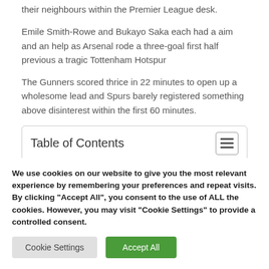their neighbours within the Premier League desk.
Emile Smith-Rowe and Bukayo Saka each had a aim and an help as Arsenal rode a three-goal first half previous a tragic Tottenham Hotspur
The Gunners scored thrice in 22 minutes to open up a wholesome lead and Spurs barely registered something above disinterest within the first 60 minutes.
Table of Contents
We use cookies on our website to give you the most relevant experience by remembering your preferences and repeat visits. By clicking "Accept All", you consent to the use of ALL the cookies. However, you may visit "Cookie Settings" to provide a controlled consent.